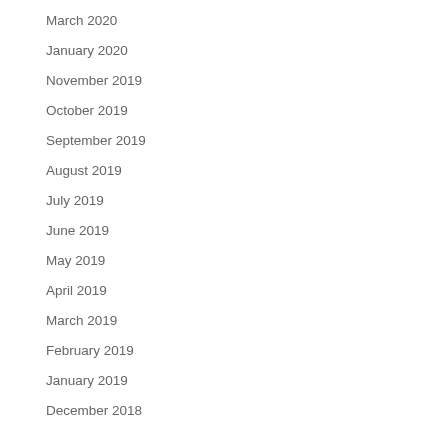March 2020
January 2020
November 2019
October 2019
September 2019
August 2019
July 2019
June 2019
May 2019
April 2019
March 2019
February 2019
January 2019
December 2018